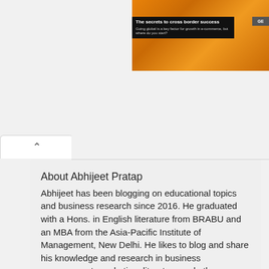[Figure (screenshot): Partial advertisement banner with orange background showing 'The secrets to cross border success' text and 'Going global is a key factor for growth in e-commerce, but where do you start?' subtitle]
About Abhijeet Pratap
Abhijeet has been blogging on educational topics and business research since 2016. He graduated with a Hons. in English literature from BRABU and an MBA from the Asia-Pacific Institute of Management, New Delhi. He likes to blog and share his knowledge and research in business management, marketing, literature and other areas with his readers.